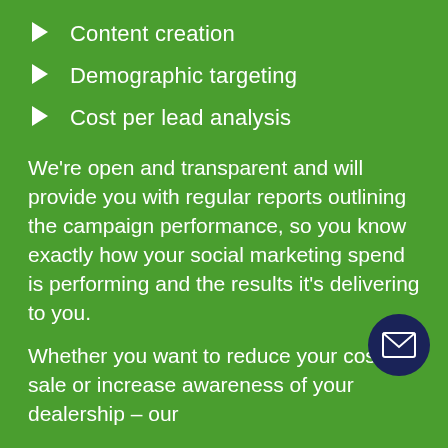Content creation
Demographic targeting
Cost per lead analysis
We’re open and transparent and will provide you with regular reports outlining the campaign performance, so you know exactly how your social marketing spend is performing and the results it’s delivering to you.
Whether you want to reduce your cost per sale or increase awareness of your dealership – our